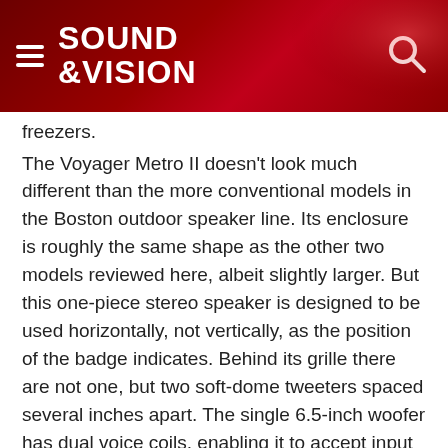SOUND &VISION
freezers.
The Voyager Metro II doesn't look much different than the more conventional models in the Boston outdoor speaker line. Its enclosure is roughly the same shape as the other two models reviewed here, albeit slightly larger. But this one-piece stereo speaker is designed to be used horizontally, not vertically, as the position of the badge indicates. Behind its grille there are not one, but two soft-dome tweeters spaced several inches apart. The single 6.5-inch woofer has dual voice coils, enabling it to accept input from both left and right channels. On the back are dual sets of binding posts—not for biwiring or biamping, but to feed two separate